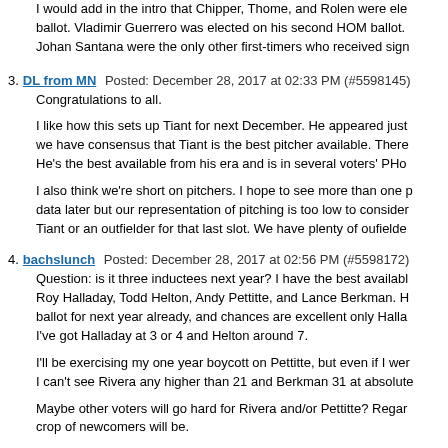I would add in the intro that Chipper, Thome, and Rolen were ele ballot. Vladimir Guerrero was elected on his second HOM ballot. Johan Santana were the only other first-timers who received sign
3. DL from MN Posted: December 28, 2017 at 02:33 PM (#5598145)
Congratulations to all.

I like how this sets up Tiant for next December. He appeared just we have consensus that Tiant is the best pitcher available. There He's the best available from his era and is in several voters' PHo

I also think we're short on pitchers. I hope to see more than one p data later but our representation of pitching is too low to consider Tiant or an outfielder for that last slot. We have plenty of oufielde
4. bachslunch Posted: December 28, 2017 at 02:56 PM (#5598172)
Question: is it three inductees next year? I have the best availabl Roy Halladay, Todd Helton, Andy Pettitte, and Lance Berkman. H ballot for next year already, and chances are excellent only Halla I've got Halladay at 3 or 4 and Helton around 7.

I'll be exercising my one year boycott on Pettitte, but even if I wer I can't see Rivera any higher than 21 and Berkman 31 at absolute

Maybe other voters will go hard for Rivera and/or Pettitte? Regar crop of newcomers will be.
5. JoeD has the Imperial March Stuck in His Head Posted: December 2 We elected Goose without too much trouble. I expect Rivera to de
6. JoeD has the Imperial March Stuck in His Head Posted: Decembe